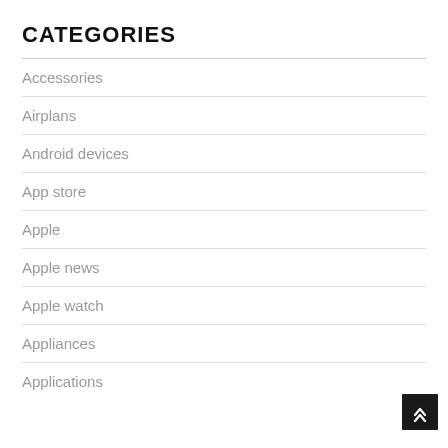CATEGORIES
Accessories
Airplans
Android devices
App store
Apple
Apple news
Apple watch
Appliances
Applications